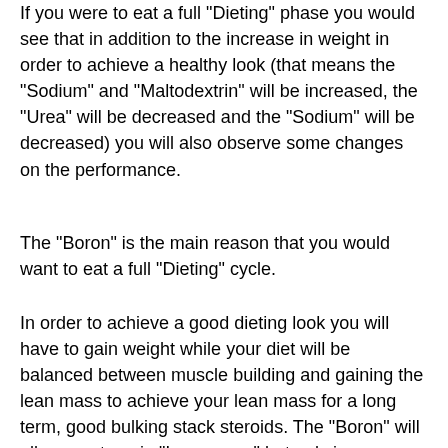If you were to eat a full "Dieting" phase you would see that in addition to the increase in weight in order to achieve a healthy look (that means the "Sodium" and "Maltodextrin" will be increased, the "Urea" will be decreased and the "Sodium" will be decreased) you will also observe some changes on the performance.
The "Boron" is the main reason that you would want to eat a full "Dieting" cycle.
In order to achieve a good dieting look you will have to gain weight while your diet will be balanced between muscle building and gaining the lean mass to achieve your lean mass for a long term, good bulking stack steroids. The "Boron" will allow you to gain "Lean mass" but only in conjunction with the "Urea" which will give you the energy necessary to lift heavier, steroids stack